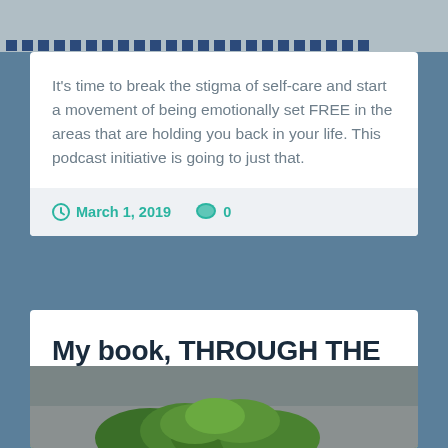[Figure (photo): Top image area with dark blue dotted border strip at bottom on gray background]
It's time to break the stigma of self-care and start a movement of being emotionally set FREE in the areas that are holding you back in your life. This podcast initiative is going to just that.
March 1, 2019   0
My book, THROUGH THE STORM is PUBLISHED!!
[Figure (photo): Bottom portion of card showing green plant foliage against gray textured background]